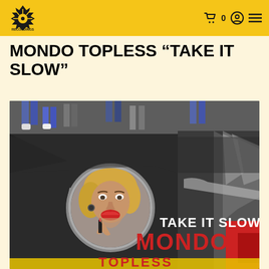RECORDINGS — navigation header with logo, cart, user, menu
MONDO TOPLESS "TAKE IT SLOW"
[Figure (photo): Album cover for Mondo Topless 'Take It Slow' — a woman applying lipstick visible in a car's side-view mirror, with a dark chrome car body in background and people's legs visible at top; text overlay reads 'TAKE IT SLOW' in white and 'MONDO' with additional text in red and yellow at the bottom of the image.]